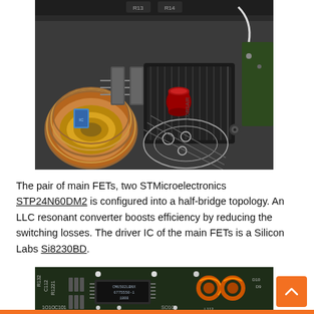[Figure (photo): Close-up photo of a power supply PCB showing main FETs, copper coil inductor, electrolytic capacitors, and a black heat sink module. Component labels visible on PCB including R13, R14.]
The pair of main FETs, two STMicroelectronics STP24N60DM2 is configured into a half-bridge topology. An LLC resonant converter boosts efficiency by reducing the switching losses. The driver IC of the main FETs is a Silicon Labs Si8230BD.
[Figure (photo): Close-up photo of power supply PCB secondary side showing component labels R132, C112, R1221, C101, and an IC marked CM6502LBNX 6775550-1 1808, along with D10, D9 and inductor L112.]